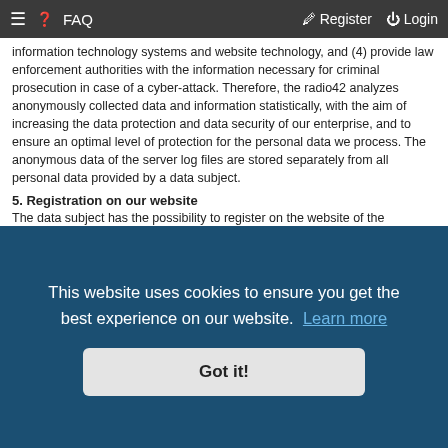≡  ❓ FAQ    Register  ⏻ Login
information technology systems and website technology, and (4) provide law enforcement authorities with the information necessary for criminal prosecution in case of a cyber-attack. Therefore, the radio42 analyzes anonymously collected data and information statistically, with the aim of increasing the data protection and data security of our enterprise, and to ensure an optimal level of protection for the personal data we process. The anonymous data of the server log files are stored separately from all personal data provided by a data subject.
5. Registration on our website
The data subject has the possibility to register on the website of the controller with the indication of personal data. Which personal data are transmitted to the controller is determined by the respective input mask used for the registration. The personal data entered by the data subject are collected and stored exclusively for internal use by the controller, and for his own purposes. The controller may request transfer to one or more processors (e.g. a parcel service) that also uses personal data for an internal purpose which is attributable to the controller.
By registering on the website of the controller, the IP address—assigned by the Internet service provider (ISP) and used by the data subject—date and time of the registration are also stored. The storage of this data takes place against the background that this is the only way to prevent the misuse of our services, and, if necessary, to make it possible to investigate committed offenses. Insofar, the storage of this data is necessary to secure the controller. This data is not passed on to third parties unless there is a statutory obligation to pass on the data, or if the passing on serves the aim of criminal prosecution.
The registration of the data subject, with the voluntary indication of personal data, is intended to enable the controller to offer the data subject contents or services that may only be offered to registered users due to the nature of the matter in question. Registered persons are free to change the personal data specified during the registration at any time, or to have them completely deleted
This website uses cookies to ensure you get the best experience on our website.  Learn more
Got it!